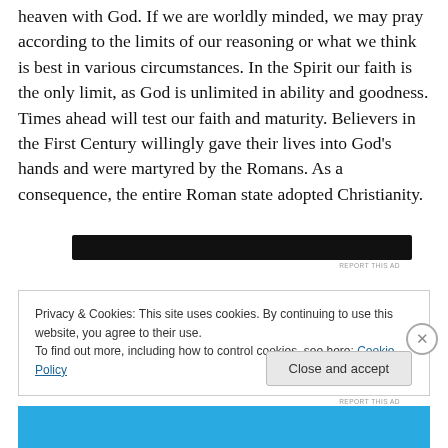heaven with God. If we are worldly minded, we may pray according to the limits of our reasoning or what we think is best in various circumstances. In the Spirit our faith is the only limit, as God is unlimited in ability and goodness. Times ahead will test our faith and maturity. Believers in the First Century willingly gave their lives into God's hands and were martyred by the Romans. As a consequence, the entire Roman state adopted Christianity.
[Figure (other): A dark/black advertisement banner bar]
Privacy & Cookies: This site uses cookies. By continuing to use this website, you agree to their use.
To find out more, including how to control cookies, see here: Cookie Policy